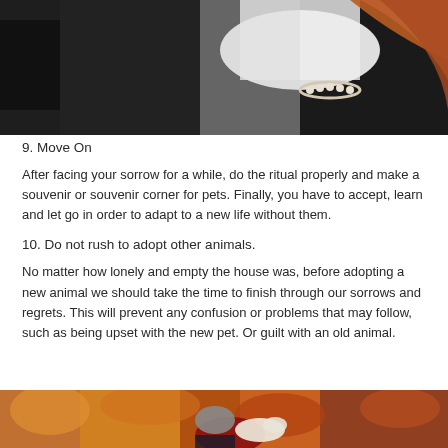[Figure (photo): Close-up of a person with red hair and a pearl bracelet petting or holding a dark-colored animal, likely a dog or cat.]
9. Move On
After facing your sorrow for a while, do the ritual properly and make a souvenir or souvenir corner for pets. Finally, you have to accept, learn and let go in order to adapt to a new life without them.
10. Do not rush to adopt other animals.
No matter how lonely and empty the house was, before adopting a new animal we should take the time to finish through our sorrows and regrets. This will prevent any confusion or problems that may follow, such as being upset with the new pet. Or guilt with an old animal.
[Figure (photo): A person in a red jacket and grey knit hat sits outdoors in an autumn setting with colorful fall foliage, holding or hugging a light-colored dog.]